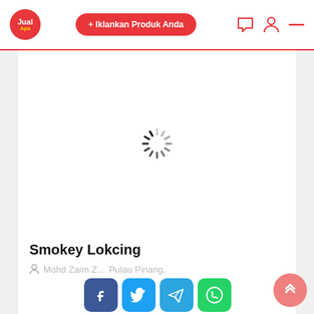Jual Apa | + Iklankan Produk Anda
[Figure (screenshot): Loading spinner (circular dashed spinner icon) on white background]
Smokey Lokcing
Mohd Zaim Z... Pulau Pinang,
[Figure (infographic): Social share buttons: Facebook, Twitter, Telegram, WhatsApp]